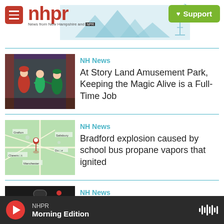[Figure (screenshot): NHPR website header with hamburger menu, nhpr logo, tagline 'News from New Hampshire and NPR', mountain/radio tower skyline illustration, and green Support button]
[Figure (photo): Theater performers in fairy tale costumes on stage — Little Red Riding Hood, Tinker Bell, Peter Pan]
NH News
At Story Land Amusement Park, Keeping the Magic Alive is a Full-Time Job
[Figure (map): Google Maps screenshot showing New Hampshire region with a red location pin near Bradford]
NH News
Bradford explosion caused by school bus propane vapors that ignited
[Figure (photo): Person at radio microphone/equipment in a studio setting]
NH News
Meet the Republicans running for U.S.
NHPR Morning Edition